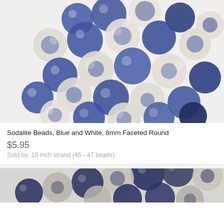[Figure (photo): Close-up photo of blue and white sodalite beads arranged in a coiled strand on a white background]
Sodalite Beads, Blue and White, 8mm Faceted Round
$5.95
Sold by: 15 inch strand (45 - 47 beads)
[Figure (photo): Partial view of another strand of sodalite beads, darker coloring, shown at the bottom of the page]